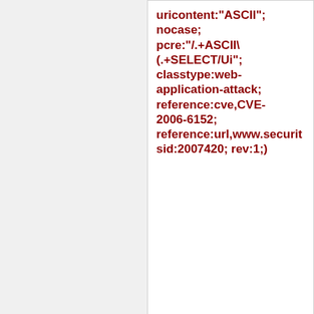uricontent:"ASCII"; nocase; pcre:"/.+ASCII\(.+SELECT/Ui"; classtype:web-application-attack; reference:cve,CVE-2006-6152; reference:url,www.securit sid:2007420; rev:1;)
Added 2007-08-27 04:39:18 UTC
alert tcp $EXTERNAL_NET any -> $HTTP_SERVERS $HTTP_PORTS (msg:"BLEEDING